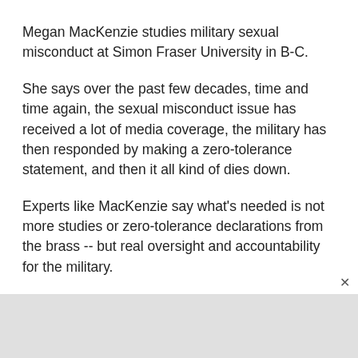Megan MacKenzie studies military sexual misconduct at Simon Fraser University in B-C.
She says over the past few decades, time and time again, the sexual misconduct issue has received a lot of media coverage, the military has then responded by making a zero-tolerance statement, and then it all kind of dies down.
Experts like MacKenzie say what's needed is not more studies or zero-tolerance declarations from the brass -- but real oversight and accountability for the military.
The calls come as former chief of the defence staff Jonathan Vance, who spent his five years as Canada's